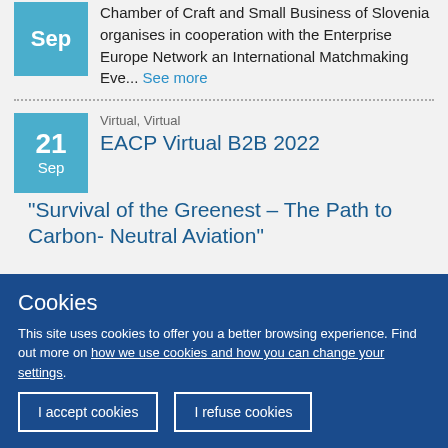Chamber of Craft and Small Business of Slovenia organises in cooperation with the Enterprise Europe Network an International Matchmaking Eve... See more
Virtual, Virtual
EACP Virtual B2B 2022 "Survival of the Greenest – The Path to Carbon-Neutral Aviation"
Cookies
This site uses cookies to offer you a better browsing experience. Find out more on how we use cookies and how you can change your settings.
I accept cookies
I refuse cookies